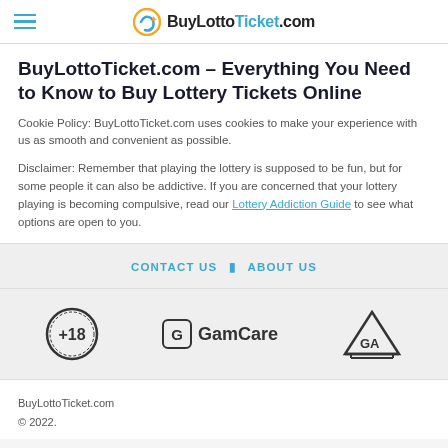BuyLottoTicket.com
BuyLottoTicket.com – Everything You Need to Know to Buy Lottery Tickets Online
Cookie Policy: BuyLottoTicket.com uses cookies to make your experience with us as smooth and convenient as possible.
Disclaimer: Remember that playing the lottery is supposed to be fun, but for some people it can also be addictive. If you are concerned that your lottery playing is becoming compulsive, read our Lottery Addiction Guide to see what options are open to you.
CONTACT US | ABOUT US
[Figure (logo): +18 age restriction badge, GamCare logo, GA (Gamblers Anonymous) logo]
BuyLottoTicket.com
© 2022.